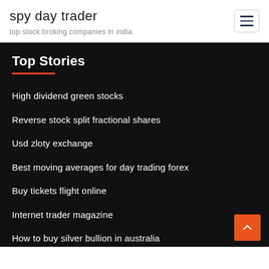spy day trader
top stock broking companies in india
Top Stories
High dividend green stocks
Reverse stock split fractional shares
Usd zloty exchange
Best moving averages for day trading forex
Buy tickets flight online
Internet trader magazine
How to buy silver bullion in australia
Forex trading office in lagos